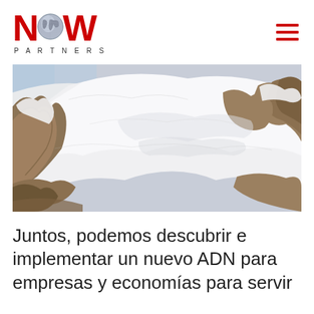[Figure (logo): NOW Partners logo with red N, globe, red W letters and PARTNERS text below]
[Figure (photo): Snow-covered mountain rocky peaks with white snow and brown/tan rock formations, blue sky visible at upper left]
Juntos, podemos descubrir e implementar un nuevo ADN para empresas y economías para servir